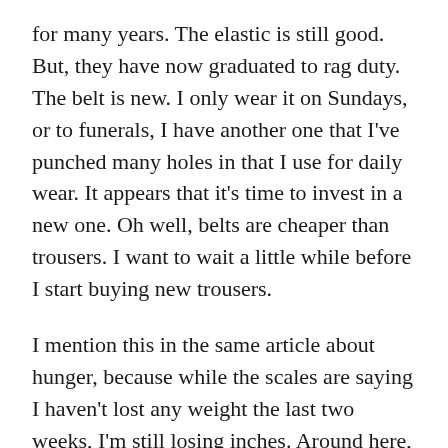for many years. The elastic is still good. But, they have now graduated to rag duty. The belt is new. I only wear it on Sundays, or to funerals, I have another one that I've punched many holes in that I use for daily wear. It appears that it's time to invest in a new one. Oh well, belts are cheaper than trousers. I want to wait a little while before I start buying new trousers.
I mention this in the same article about hunger, because while the scales are saying I haven't lost any weight the last two weeks, I'm still losing inches. Around here, that's a win. Some of that has to do with the fact that I have started some body weight exercises. Nothing dramatic, it's just that I've reached an age